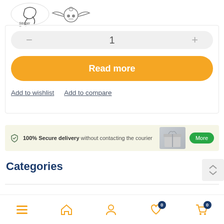[Figure (logo): Stinger Engines logo with scorpion and winged skull emblem]
[Figure (other): Quantity selector bar showing minus, 1, plus controls]
[Figure (other): Orange rounded Read more button]
Add to wishlist   Add to compare
[Figure (infographic): 100% Secure delivery without contacting the courier banner with gift image and More button]
Categories
[Figure (other): Bottom navigation bar with menu, home, user, wishlist (badge 0), cart (badge 0) icons]